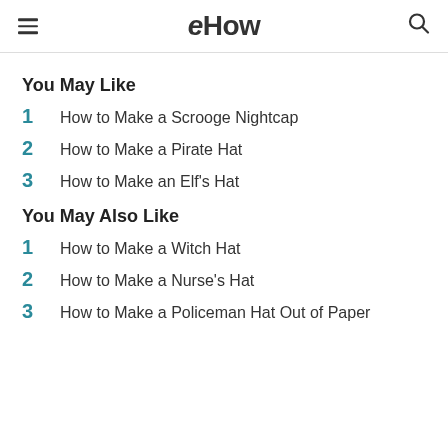eHow
You May Like
1  How to Make a Scrooge Nightcap
2  How to Make a Pirate Hat
3  How to Make an Elf's Hat
You May Also Like
1  How to Make a Witch Hat
2  How to Make a Nurse's Hat
3  How to Make a Policeman Hat Out of Paper